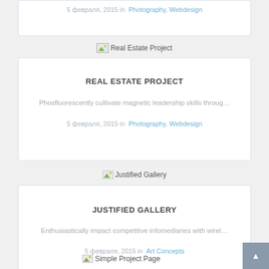5 февраля, 2015 in Photography, Webdesign
[Figure (photo): Thumbnail placeholder image labeled 'Real Estate Project']
REAL ESTATE PROJECT
Phosfluorescently cultivate magnetic leadership skills throug…
5 февраля, 2015 in Photography, Webdesign
[Figure (photo): Thumbnail placeholder image labeled 'Justified Gallery']
JUSTIFIED GALLERY
Enthusiastically impact competitive infomediaries with wirel…
5 февраля, 2015 in Art Concepts
[Figure (photo): Thumbnail placeholder image labeled 'Simple Project Page']